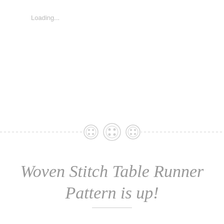Loading...
[Figure (illustration): Three decorative button icons arranged horizontally on a dashed divider line]
Woven Stitch Table Runner Pattern is up!
February 11, 2008   Leave a comment
[Figure (photo): Photo of a white woven stitch knitted/crocheted table runner on a tan background]
The